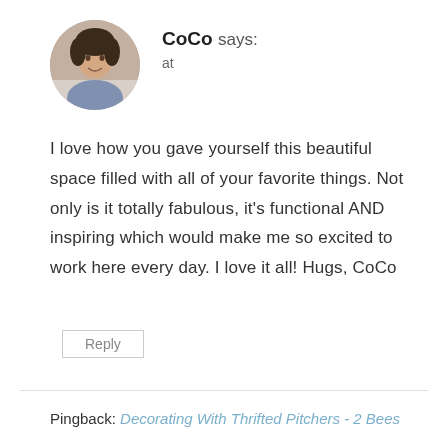[Figure (photo): Circular avatar photo of a woman smiling, used as a commenter profile picture]
CoCo says:
at
I love how you gave yourself this beautiful space filled with all of your favorite things. Not only is it totally fabulous, it's functional AND inspiring which would make me so excited to work here every day. I love it all! Hugs, CoCo
Reply
Pingback: Decorating With Thrifted Pitchers - 2 Bees